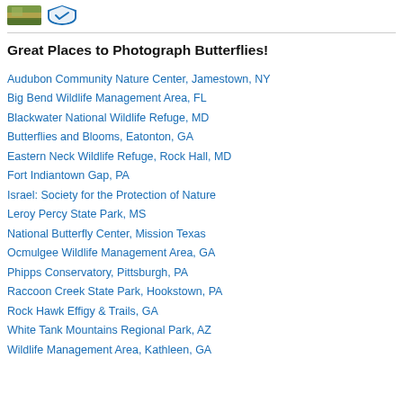[Figure (photo): Small thumbnail photo of a nature scene with golden and green tones]
[Figure (logo): Blue shield/badge logo with white design element]
Great Places to Photograph Butterflies!
Audubon Community Nature Center, Jamestown, NY
Big Bend Wildlife Management Area, FL
Blackwater National Wildlife Refuge, MD
Butterflies and Blooms, Eatonton, GA
Eastern Neck Wildlife Refuge, Rock Hall, MD
Fort Indiantown Gap, PA
Israel: Society for the Protection of Nature
Leroy Percy State Park, MS
National Butterfly Center, Mission Texas
Ocmulgee Wildlife Management Area, GA
Phipps Conservatory, Pittsburgh, PA
Raccoon Creek State Park, Hookstown, PA
Rock Hawk Effigy & Trails, GA
White Tank Mountains Regional Park, AZ
Wildlife Management Area, Kathleen, GA